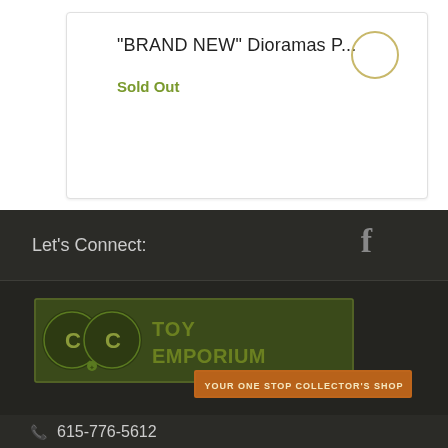"BRAND NEW" Dioramas P...
Sold Out
Let's Connect:
[Figure (logo): CC Toy Emporium logo with mossy stone texture lettering and orange banner reading 'YOUR ONE STOP COLLECTOR'S SHOP']
615-776-5612